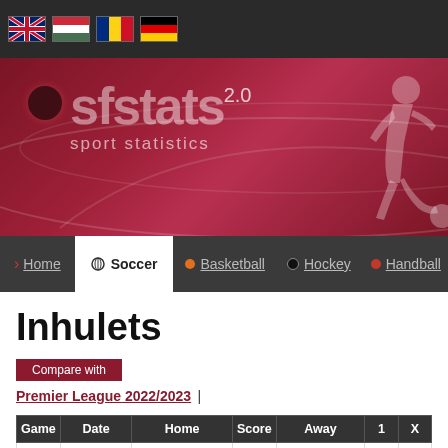[Figure (screenshot): Flag bar with UK, Hungarian, Romanian, and German flags]
[Figure (illustration): SFStats 2.0 sport statistics banner with logo and football player silhouette on red/maroon background]
Home | Soccer | Basketball | Hockey | Handball
Inhulets
Compare with
Premier League 2022/2023 |
| Game | Date | Home | Score | Away | 1 | X |
| --- | --- | --- | --- | --- | --- | --- |
| 7 | 2022.08.25 | Inhulets | 1 : 2 | Oleksandrija FK | 3.51 | 3.17 |
| 2 | 2022.08.29 | Metalist Charkov FK | 1 : 1 | Inhulets | 2.24 | 3.25 |
| 3 | 2022.09.04 | Černomorec Odésa | · : · | Inhulets | 2.33 | 3.33 |